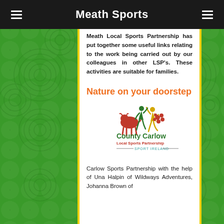Meath Sports
Meath Local Sports Partnership has put together some useful links relating to the work being carried out by our colleagues in other LSP's. These activities are suitable for families.
Nature on your doorstep
[Figure (logo): County Carlow Local Sports Partnership logo with Sport Ireland branding. Features colorful figures of athletes and the text 'County Carlow Local Sports Partnership — SPORT IRELAND —']
Carlow Sports Partnership with the help of Una Halpin of Wildways Adventures, Johanna Brown of